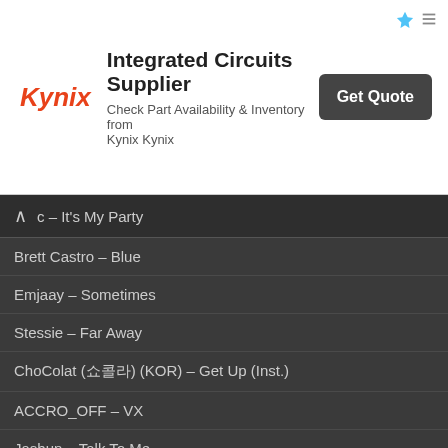[Figure (other): Kynix advertisement banner: Integrated Circuits Supplier - Check Part Availability & Inventory from Kynix Kynix - Get Quote button]
c – It's My Party
Brett Castro – Blue
Emjaay – Sometimes
Stessie – Far Away
ChoColat (쇼콜라) (KOR) – Get Up (Inst.)
ACCRO_OFF – VX
Jashun – Talk To Me
Cast of Whirlwind For Hire – Trench Coat Weather
Ph8 – To Be Played (Preliminary Hearing)